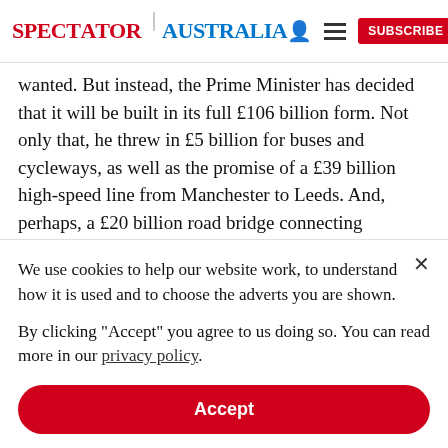SPECTATOR | AUSTRALIA
wanted. But instead, the Prime Minister has decided that it will be built in its full £106 billion form. Not only that, he threw in £5 billion for buses and cycleways, as well as the promise of a £39 billion high-speed line from Manchester to Leeds. And, perhaps, a £20 billion road bridge connecting Dumfriesshire with
We use cookies to help our website work, to understand how it is used and to choose the adverts you are shown.
By clicking "Accept" you agree to us doing so. You can read more in our privacy policy.